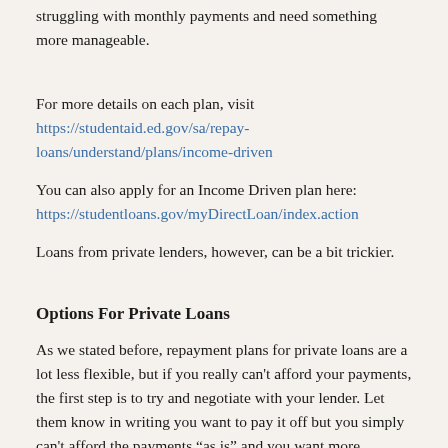struggling with monthly payments and need something more manageable.
For more details on each plan, visit https://studentaid.ed.gov/sa/repay-loans/understand/plans/income-driven
You can also apply for an Income Driven plan here: https://studentloans.gov/myDirectLoan/index.action
Loans from private lenders, however, can be a bit trickier.
Options For Private Loans
As we stated before, repayment plans for private loans are a lot less flexible, but if you really can't afford your payments, the first step is to try and negotiate with your lender. Let them know in writing you want to pay it off but you simply can't afford the payments “as is” and you want more manageable monthly payments. In some